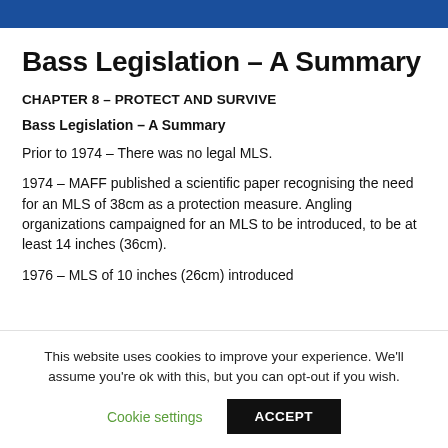Bass Legislation – A Summary
CHAPTER 8 – PROTECT AND SURVIVE
Bass Legislation – A Summary
Prior to 1974 – There was no legal MLS.
1974 – MAFF published a scientific paper recognising the need for an MLS of 38cm as a protection measure. Angling organizations campaigned for an MLS to be introduced, to be at least 14 inches (36cm).
1976 – MLS of 10 inches (26cm) introduced
This website uses cookies to improve your experience. We'll assume you're ok with this, but you can opt-out if you wish.
Cookie settings  ACCEPT